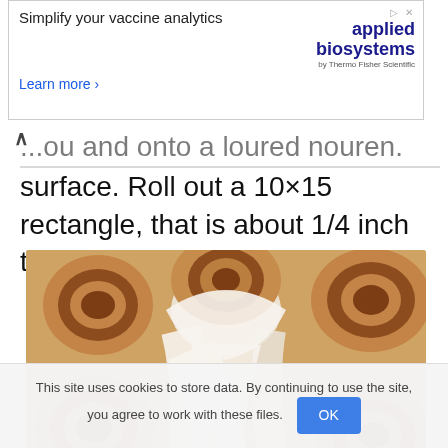[Figure (screenshot): Advertisement banner: 'Simplify your vaccine analytics' with 'applied biosystems by Thermo Fisher Scientific' logo and 'Learn more >' link]
surface. Roll out a 10×15 rectangle, that is about 1/4 inch thick.
[Figure (photo): Close-up photo of cinnamon rolls being drizzled with white cream/frosting]
This site uses cookies to store data. By continuing to use the site, you agree to work with these files. OK